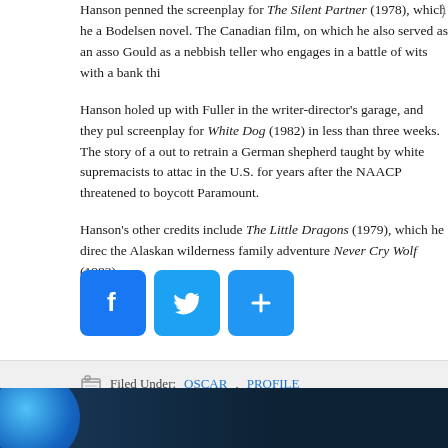Hanson penned the screenplay for The Silent Partner (1978), which he a Bodelsen novel. The Canadian film, on which he also served as an asso Gould as a nebbish teller who engages in a battle of wits with a bank thi
Hanson holed up with Fuller in the writer-director's garage, and they pul screenplay for White Dog (1982) in less than three weeks. The story of a out to retrain a German shepherd taught by white supremacists to attac in the U.S. for years after the NAACP threatened to boycott Paramount.
Hanson's other credits include The Little Dragons (1979), which he direc the Alaskan wilderness family adventure Never Cry Wolf (1983).
[Figure (other): Social sharing icons: Facebook (blue F), Twitter (blue bird), and a blue share/add button]
Filed Under: OSCAR, PROFILE
[Figure (illustration): Dark blue gradient footer with a circular blue orb/ball on the left side]